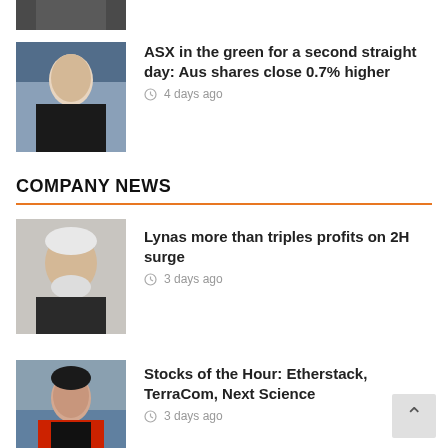[Figure (photo): Partial photo of a person (top cropped), dark background]
ASX in the green for a second straight day: Aus shares close 0.7% higher
4 days ago
COMPANY NEWS
[Figure (photo): Older man with white hair and beard, dark shirt]
Lynas more than triples profits on 2H surge
3 days ago
[Figure (photo): Woman with dark hair in red jacket, city background]
Stocks of the Hour: Etherstack, TerraCom, Next Science
3 days ago
Is the answer to CO2 emissions beneath our